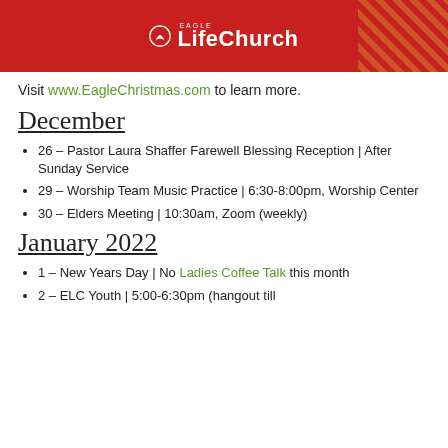[Figure (logo): Eagle LifeChurch logo on red background with diagonal stripe pattern]
Visit www.EagleChristmas.com to learn more.
December
26 – Pastor Laura Shaffer Farewell Blessing Reception | After Sunday Service
29 – Worship Team Music Practice | 6:30-8:00pm, Worship Center
30 – Elders Meeting | 10:30am, Zoom (weekly)
January 2022
1 – New Years Day | No Ladies Coffee Talk this month
2 – ELC Youth | 5:00-6:30pm (hangout till 7:00), Eagle Life Church Youth Ro…